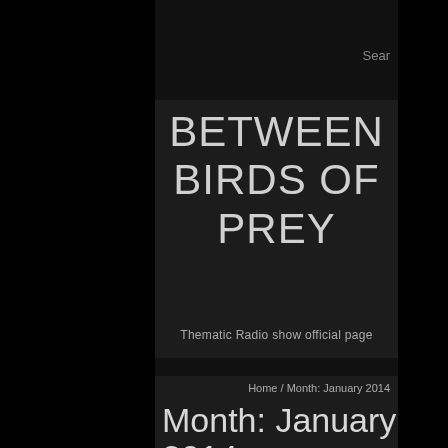Sear
BETWEEN BIRDS OF PREY
Thematic Radio show official page
Home / Month: January 2014
Month: January 2014